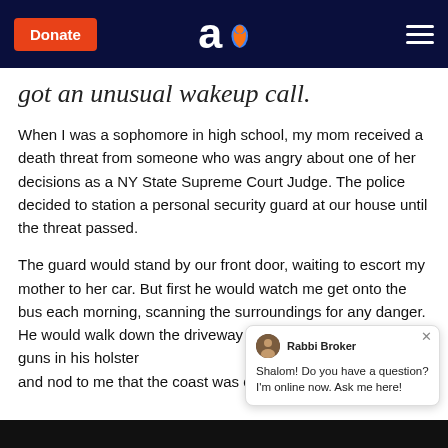Donate | [Aish logo] | [Menu]
got an unusual wakeup call.
When I was a sophomore in high school, my mom received a death threat from someone who was angry about one of her decisions as a NY State Supreme Court Judge. The police decided to station a personal security guard at our house until the threat passed.
The guard would stand by our front door, waiting to escort my mother to her car. But first he would watch me get onto the bus each morning, scanning the surroundings for any danger. He would walk down the driveway in full uniform with two guns in his holster and nod to me that the coast was cl—
Rabbi Broker
Shalom! Do you have a question? I'm online now. Ask me here!